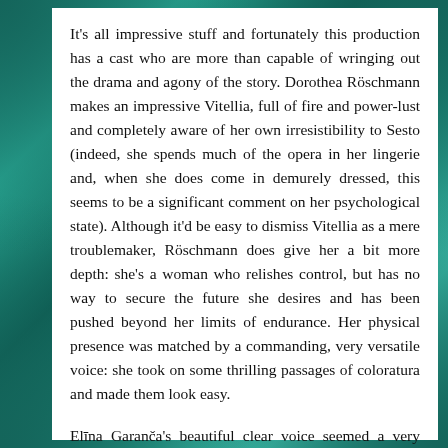It's all impressive stuff and fortunately this production has a cast who are more than capable of wringing out the drama and agony of the story. Dorothea Röschmann makes an impressive Vitellia, full of fire and power-lust and completely aware of her own irresistibility to Sesto (indeed, she spends much of the opera in her lingerie and, when she does come in demurely dressed, this seems to be a significant comment on her psychological state). Although it'd be easy to dismiss Vitellia as a mere troublemaker, Röschmann does give her a bit more depth: she's a woman who relishes control, but has no way to secure the future she desires and has been pushed beyond her limits of endurance. Her physical presence was matched by a commanding, very versatile voice: she took on some thrilling passages of coloratura and made them look easy.
Elīna Garanča's beautiful clear voice seemed a very good fit for Annio, who came across here as earnest, decent